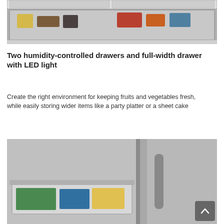[Figure (photo): Close-up photo of an open refrigerator drawer showing colorful food items stored inside, including yellow and brown containers, meats, and other produce items in a well-organized freezer drawer.]
Two humidity-controlled drawers and full-width drawer with LED light
Create the right environment for keeping fruits and vegetables fresh, while easily storing wider items like a party platter or a sheet cake
[Figure (photo): Photo of a refrigerator with an open full-width drawer showing food items stored inside, alongside a partial view of a stainless steel refrigerator door handle.]